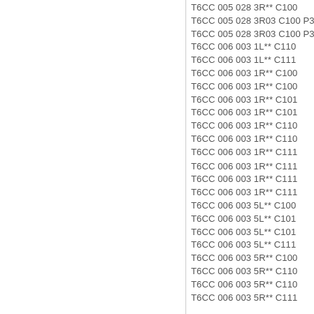T6CC  005 028 3R** C100
T6CC  005 028 3R03 C100 P38A
T6CC  005 028 3R03 C100 P38A
T6CC  006 003 1L** C110
T6CC  006 003 1L** C111
T6CC  006 003 1R** C100
T6CC  006 003 1R** C100
T6CC  006 003 1R** C101
T6CC  006 003 1R** C101
T6CC  006 003 1R** C110
T6CC  006 003 1R** C110
T6CC  006 003 1R** C111
T6CC  006 003 1R** C111
T6CC  006 003 1R** C111
T6CC  006 003 1R** C111
T6CC  006 003 5L** C100
T6CC  006 003 5L** C101
T6CC  006 003 5L** C101
T6CC  006 003 5L** C111
T6CC  006 003 5R** C100
T6CC  006 003 5R** C110
T6CC  006 003 5R** C110
T6CC  006 003 5R** C111